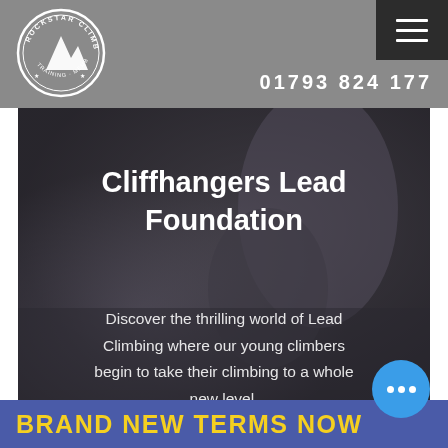[Figure (logo): Rockstar Climbing circular logo in white on grey background]
01793 824 177
[Figure (photo): Dark blurred background photo of climbing wall/gym with hero text overlay]
Cliffhangers Lead Foundation
Discover the thrilling world of Lead Climbing where our young climbers begin to take their climbing to a whole new level.
BRAND NEW TERMS NOW